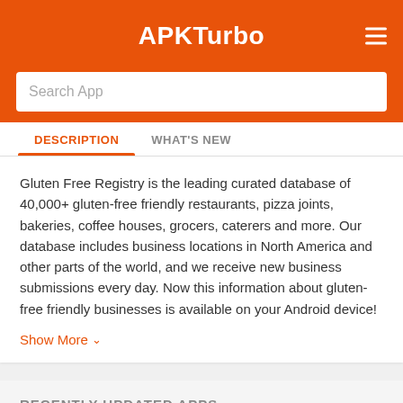APKTurbo
Search App
DESCRIPTION
WHAT'S NEW
Gluten Free Registry is the leading curated database of 40,000+ gluten-free friendly restaurants, pizza joints, bakeries, coffee houses, grocers, caterers and more. Our database includes business locations in North America and other parts of the world, and we receive new business submissions every day. Now this information about gluten-free friendly businesses is available on your Android device!
Show More
RECENTLY UPDATED APPS
iDisciple
VERSION 05.2.18.34238